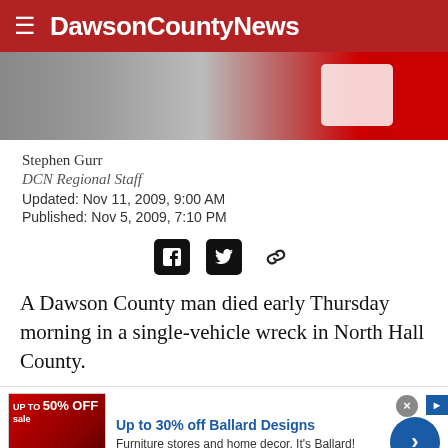DawsonCountyNews
[Figure (photo): Hero image with gray and red background, partial white shape visible]
Stephen Gurr
DCN Regional Staff
Updated: Nov 11, 2009, 9:00 AM
Published: Nov 5, 2009, 7:10 PM
[Figure (other): Social sharing icons: Facebook, Twitter, and link/copy icons]
A Dawson County man died early Thursday morning in a single-vehicle wreck in North Hall County.
[Figure (other): Advertisement banner: Up to 30% off Ballard Designs. Furniture stores and home decor. It's Ballard! ballarddesigns.com]